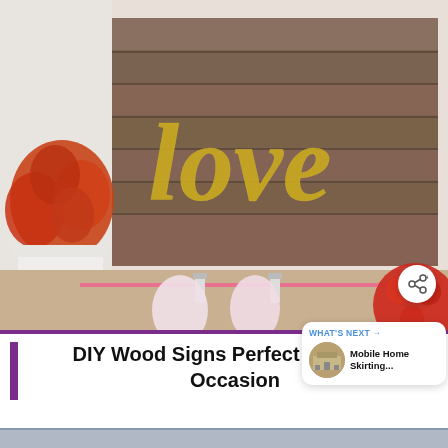[Figure (photo): A rustic wooden sign with gold glitter script reading 'love', flanked by red flowers in a white vase on the left and a red paper rose ball on the right, with pink clothespins on a pink string at the bottom front.]
DIY Wood Signs Perfect For Every Occasion
[Figure (infographic): A 'WHAT'S NEXT' overlay card showing a thumbnail image of a mobile home with skirting, labeled 'Mobile Home Skirting...']
[Figure (screenshot): A share/add button (share icon with plus sign) in a white circular button overlaid on the photo.]